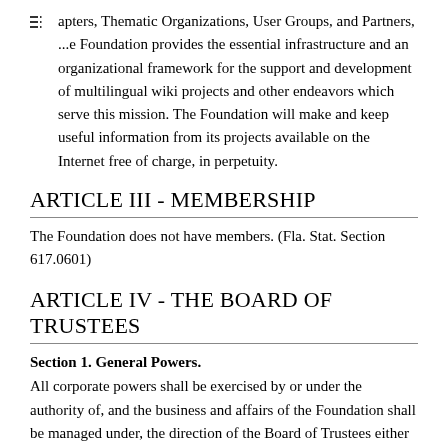apters, Thematic Organizations, User Groups, and Partners, ...e Foundation provides the essential infrastructure and an organizational framework for the support and development of multilingual wiki projects and other endeavors which serve this mission. The Foundation will make and keep useful information from its projects available on the Internet free of charge, in perpetuity.
ARTICLE III - MEMBERSHIP
The Foundation does not have members. (Fla. Stat. Section 617.0601)
ARTICLE IV - THE BOARD OF TRUSTEES
Section 1. General Powers.
All corporate powers shall be exercised by or under the authority of, and the business and affairs of the Foundation shall be managed under, the direction of the Board of Trustees either directly or through a written delegation of authority.